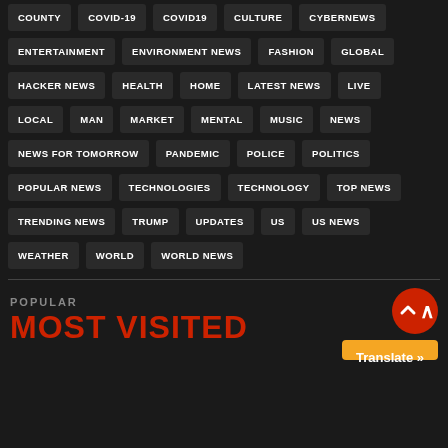COUNTY
COVID-19
COVID19
CULTURE
CYBERNEWS
ENTERTAINMENT
ENVIRONMENT NEWS
FASHION
GLOBAL
HACKER NEWS
HEALTH
HOME
LATEST NEWS
LIVE
LOCAL
MAN
MARKET
MENTAL
MUSIC
NEWS
NEWS FOR TOMORROW
PANDEMIC
POLICE
POLITICS
POPULAR NEWS
TECHNOLOGIES
TECHNOLOGY
TOP NEWS
TRENDING NEWS
TRUMP
UPDATES
US
US NEWS
WEATHER
WORLD
WORLD NEWS
POPULAR
MOST VISITED